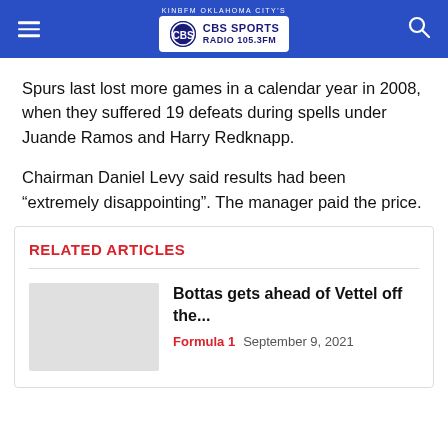KINBFM OKLAHOMA CITY'S CBS SPORTS RADIO 105.3FM
Spurs last lost more games in a calendar year in 2008, when they suffered 19 defeats during spells under Juande Ramos and Harry Redknapp.
Chairman Daniel Levy said results had been “extremely disappointing”. The manager paid the price.
RELATED ARTICLES
Bottas gets ahead of Vettel off the...
Formula 1   September 9, 2021